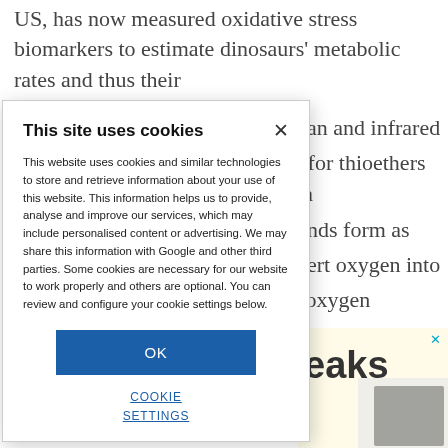US, has now measured oxidative stress biomarkers to estimate dinosaurs' metabolic rates and thus their
nan and infrared l for thioethers in unds form as vert oxygen into ' oxygen therms than in
[Figure (screenshot): Cookie consent overlay with title 'This site uses cookies', body text explaining cookie usage, an OK button, and a COOKIE SETTINGS link]
[Figure (screenshot): Advertisement area bottom right showing partial text 'eaks' in large letters with a small x close button and product image on yellow background]